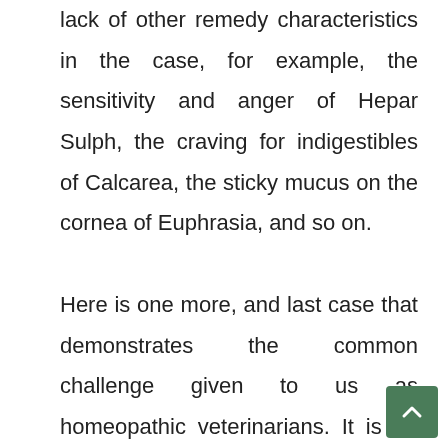lack of other remedy characteristics in the case, for example, the sensitivity and anger of Hepar Sulph, the craving for indigestibles of Calcarea, the sticky mucus on the cornea of Euphrasia, and so on.

Here is one more, and last case that demonstrates the common challenge given to us as homeopathic veterinarians. It is an animal with advanced pathology and a long history of illness. Therefore the case is complex, with symptoms t